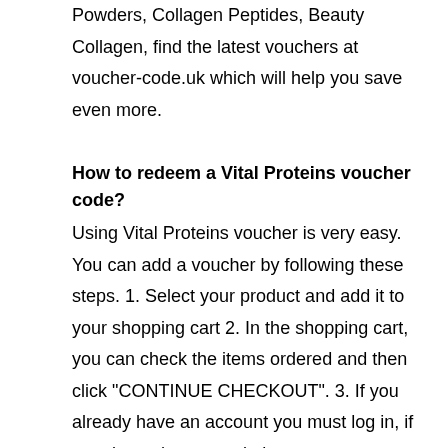Powders, Collagen Peptides, Beauty Collagen, find the latest vouchers at voucher-code.uk which will help you save even more.
How to redeem a Vital Proteins voucher code?
Using Vital Proteins voucher is very easy. You can add a voucher by following these steps. 1. Select your product and add it to your shopping cart 2. In the shopping cart, you can check the items ordered and then click "CONTINUE CHECKOUT". 3. If you already have an account you must log in, if you do not have a website account you must register with your email address and choose a password 4. Fill in the name and address of the delivery and then fill in Vital Proteins voucher code on the order summary page 5. Click the Apply button to activate the voucher code 6. Once